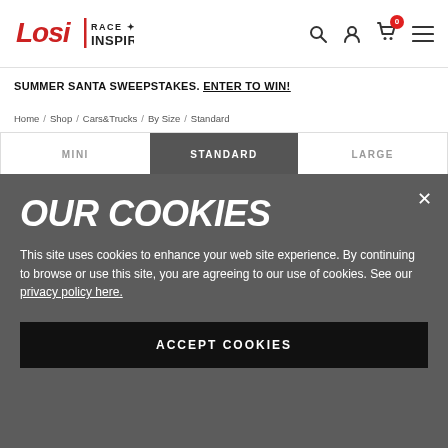Losi | Race Inspired — navigation header with search, account, cart (0), menu icons
SUMMER SANTA SWEEPSTAKES. ENTER TO WIN!
Home / Shop / Cars&Trucks / By Size / Standard
MINI | STANDARD | LARGE
OUR COOKIES
This site uses cookies to enhance your web site experience. By continuing to browse or use this site, you are agreeing to our use of cookies. See our privacy policy here.
ACCEPT COOKIES